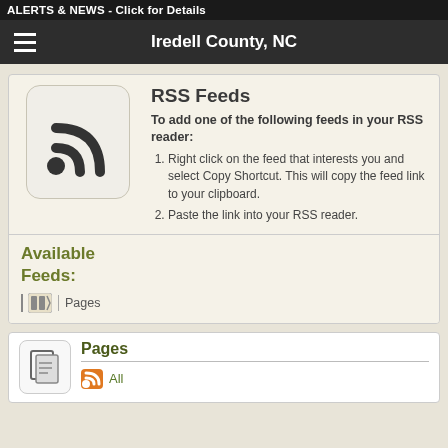ALERTS & NEWS - Click for Details
Iredell County, NC
RSS Feeds
To add one of the following feeds in your RSS reader:
Right click on the feed that interests you and select Copy Shortcut. This will copy the feed link to your clipboard.
Paste the link into your RSS reader.
Available Feeds:
Pages
Pages
All